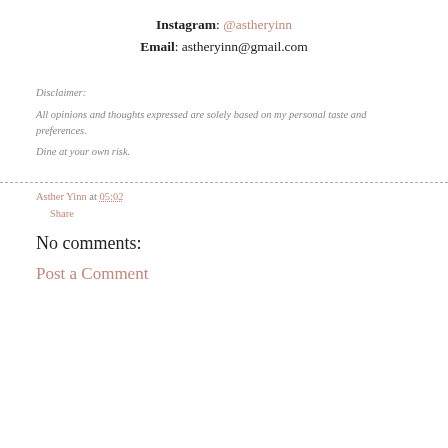Instagram: @astheryinn
Email: astheryinn@gmail.com
Disclaimer:
All opinions and thoughts expressed are solely based on my personal taste and preferences.
Dine at your own risk.
Asther Yinn at 05:02
Share
No comments:
Post a Comment